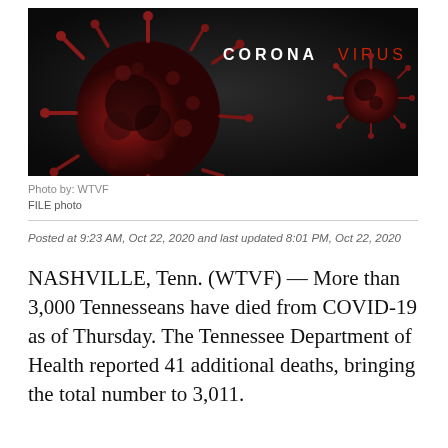[Figure (photo): Coronavirus banner image with a dark background showing a red 3D render of a coronavirus particle on the left and a smaller one on the top right, with the text CORONAVIRUS in white/red lettering in the center-top area.]
Photo by: WTVF
FILE photo
Posted at 9:23 AM, Oct 22, 2020 and last updated 8:01 PM, Oct 22, 2020
NASHVILLE, Tenn. (WTVF) — More than 3,000 Tennesseans have died from COVID-19 as of Thursday. The Tennessee Department of Health reported 41 additional deaths, bringing the total number to 3,011.